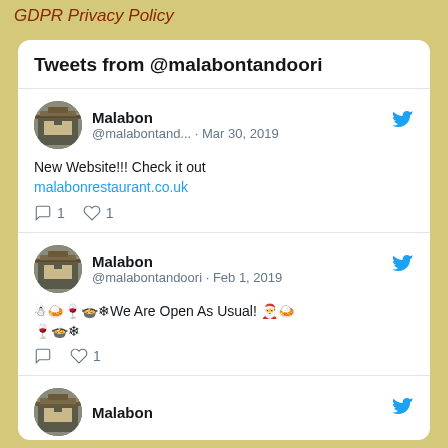GDPR Privacy Policy
Tweets from @malabontandoori
Malabon
@malabontand... · Mar 30, 2019
New Website!!! Check it out
malabonrestaurant.co.uk
1  1
Malabon
@malabontandoori · Feb 1, 2019
☃🍛🍷🍲❄We Are Open As Usual! 🎅🍛
🍷🍲❄
1
Malabon